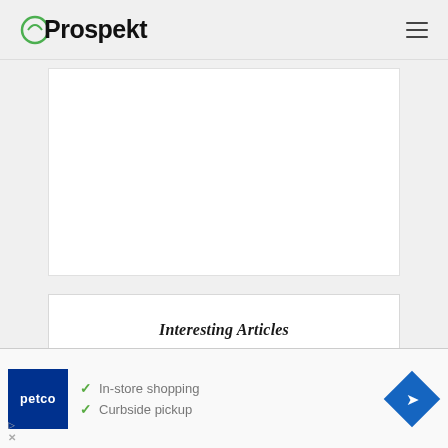Prospekt
[Figure (other): White rectangular content placeholder area]
Interesting Articles
[Figure (photo): Partial image strip showing dark wood grain texture, partially obscured]
[Figure (other): Petco advertisement banner with checklist: In-store shopping, Curbside pickup, navigation icon]
In-store shopping
Curbside pickup